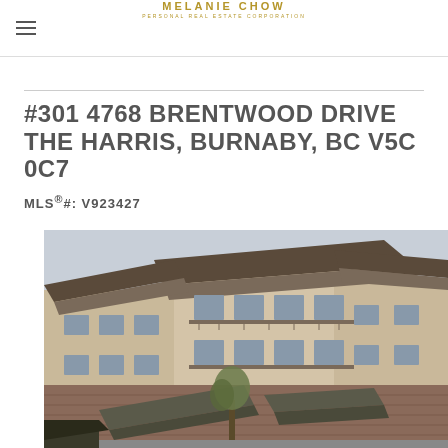MELANIE CHOW
#301 4768 BRENTWOOD DRIVE THE HARRIS, BURNABY, BC V5C 0C7
MLS®#: V923427
[Figure (photo): Exterior photo of The Harris condominium building in Burnaby BC, showing a multi-storey building with balconies, brick and stucco facade, and distinctive architectural roof overhangs]